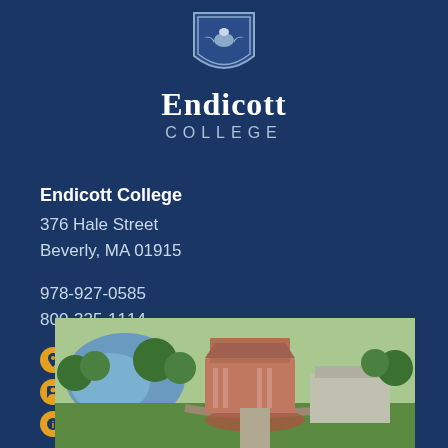[Figure (logo): Endicott College shield logo with eagle, white, above the college name]
ENDICOTT
COLLEGE
Endicott College
376 Hale Street
Beverly, MA 01915
978-927-0585
800-325-1114
Location and Directions
Directory
Contact Us
[Figure (photo): Aerial rendering of Endicott College campus showing buildings surrounded by trees and a pond/lake]